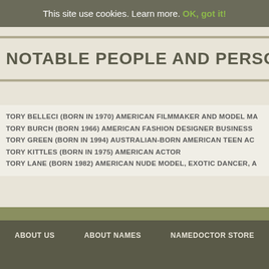This site use cookies. Learn more. OK, got it!
NOTABLE PEOPLE AND PERSONALITIES
TORY BELLECI (BORN IN 1970) AMERICAN FILMMAKER AND MODEL MA...
TORY BURCH (BORN 1966) AMERICAN FASHION DESIGNER BUSINESS...
TORY GREEN (BORN IN 1994) AUSTRALIAN-BORN AMERICAN TEEN AC...
TORY KITTLES (BORN IN 1975) AMERICAN ACTOR
TORY LANE (BORN 1982) AMERICAN NUDE MODEL, EXOTIC DANCER, A...
ABOUT US   ABOUT NAMES   NAMEDOCTOR STORE